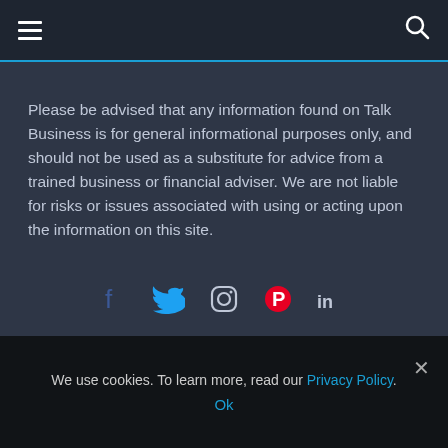Navigation bar with hamburger menu and search icon
Please be advised that any information found on Talk Business is for general informational purposes only, and should not be used as a substitute for advice from a trained business or financial adviser. We are not liable for risks or issues associated with using or acting upon the information on this site.
[Figure (infographic): Social media icons: Facebook, Twitter, Instagram, Pinterest, LinkedIn]
We use cookies. To learn more, read our Privacy Policy. Ok